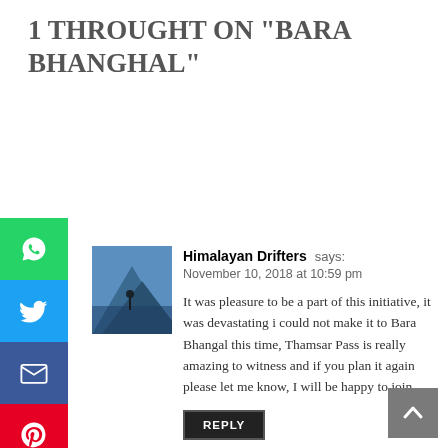1 THROUGHT ON "BARA BHANGHAL"
Himalayan Drifters says:
November 10, 2018 at 10:59 pm
It was pleasure to be a part of this initiative, it was devastating i could not make it to Bara Bhangal this time, Thamsar Pass is really amazing to witness and if you plan it again please let me know, I will be happy to join.
REPLY